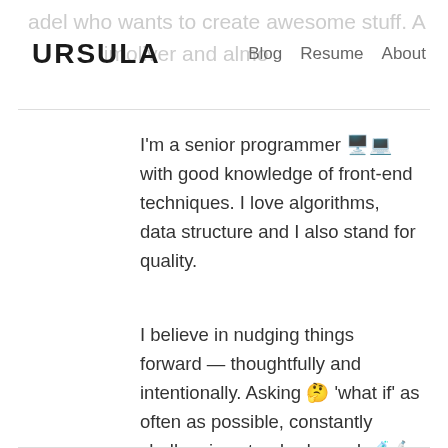URSULA  Blog  Resume  About
I'm a senior programmer 🖥️💻 with good knowledge of front-end techniques. I love algorithms, data structure and I also stand for quality.
I believe in nudging things forward — thoughtfully and intentionally. Asking 🤔 'what if' as often as possible, constantly challenging standards, and 🧪🔬experimenting endlessly.
Read my blog